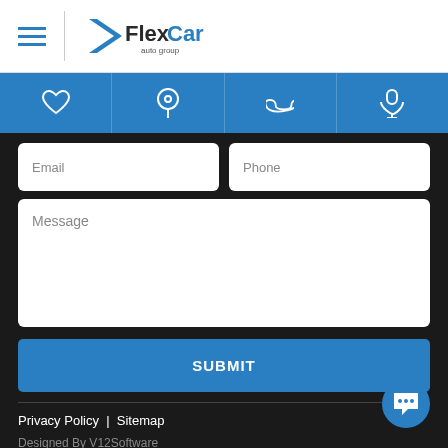FlexCar auto group
[Figure (screenshot): Navigation bar with icons: heart, location pin, phone, microphone]
Email
Phone
Message
SUBMIT
Privacy Policy | Sitemap
Designed By V12Software